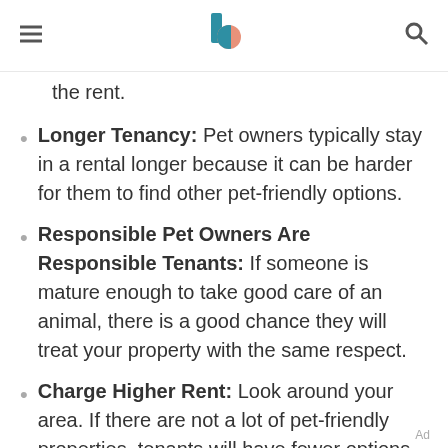[navigation header with hamburger menu, logo, and search icon]
the rent.
Longer Tenancy: Pet owners typically stay in a rental longer because it can be harder for them to find other pet-friendly options.
Responsible Pet Owners Are Responsible Tenants: If someone is mature enough to take good care of an animal, there is a good chance they will treat your property with the same respect.
Charge Higher Rent: Look around your area. If there are not a lot of pet-friendly properties, tenants will have fewer options, and you may be